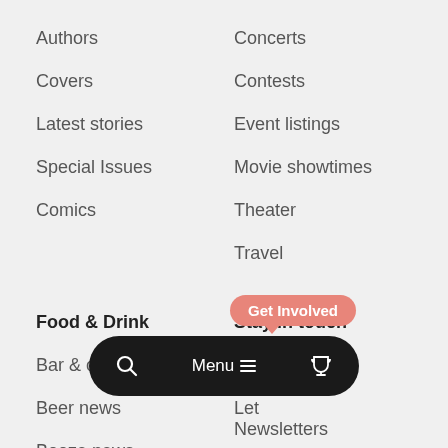Authors
Concerts
Covers
Contests
Latest stories
Event listings
Special Issues
Movie showtimes
Comics
Theater
Travel
Food & Drink
Stay in touch
Bar & clubs
Comments
Beer news
Letters
Booze news
Newsletters
Food & drink
Happy hour
Facebook
Restaurants
Twitter
[Figure (screenshot): Floating dark pill-shaped navigation bar with search icon, Menu label with hamburger icon, and trophy icon. Also shows a salmon/pink 'Get Involved' tooltip bubble.]